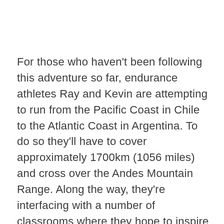For those who haven't been following this adventure so far, endurance athletes Ray and Kevin are attempting to run from the Pacific Coast in Chile to the Atlantic Coast in Argentina. To do so they'll have to cover approximately 1700km (1056 miles) and cross over the Andes Mountain Range. Along the way, they're interfacing with a number of classrooms where they hope to inspire students and teachers alike to pursue a healthy lifestyle and mix exercise